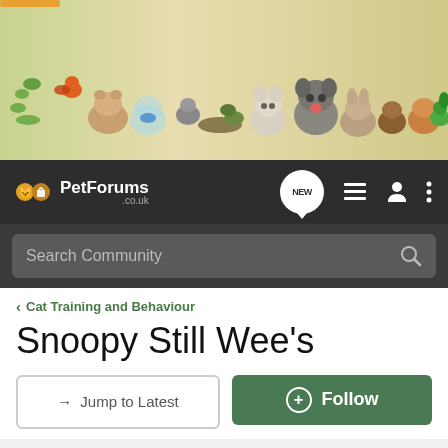[Figure (photo): Banner image showing various pets including cats, dogs, birds, reptiles, fish, hamsters, guinea pigs, and lizards on a white/tan background]
PetForums .co.uk
Search Community
< Cat Training and Behaviour
Snoopy Still Wee's
→ Jump to Latest
+ Follow
1 - 6 of 6 Posts
Longton Flyball · Registered
Joined Nov 6, 2011 · 909 Posts